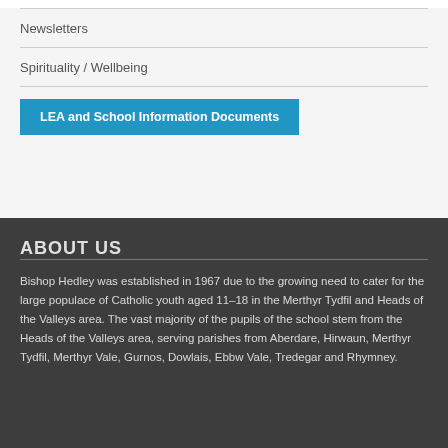Newsletters
Spirituality / Wellbeing
LEA and School Information Documents
ABOUT US
Bishop Hedley was established in 1967 due to the growing need to cater for the large populace of Catholic youth aged 11–18 in the Merthyr Tydfil and Heads of the Valleys area. The vast majority of the pupils of the school stem from the Heads of the Valleys area, serving parishes from Aberdare, Hirwaun, Merthyr Tydfil, Merthyr Vale, Gurnos, Dowlais, Ebbw Vale, Tredegar and Rhymney.